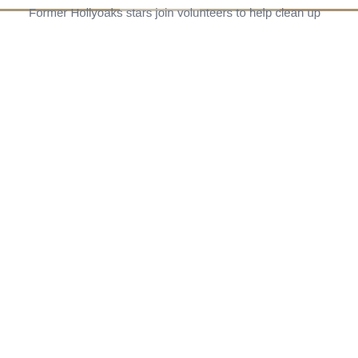[Figure (photo): A narrow horizontal photo strip at the top of the page, appearing to show people outdoors, likely at a community cleanup event.]
Former Hollyoaks stars join volunteers to help clean up